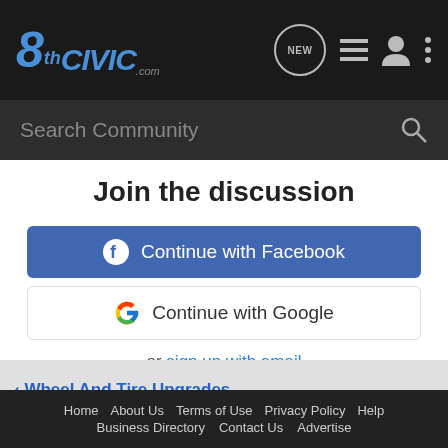8thCivic.com
Search Community
Join the discussion
Continue with Facebook
Continue with Google
or sign up with email
< Wheel And Tire Upgrades
Home  About Us  Terms of Use  Privacy Policy  Help  Business Directory  Contact Us  Advertise